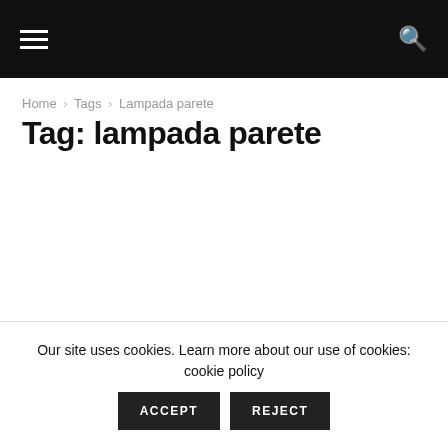Navigation bar with hamburger menu and search icon
Home › Tags › Lampada parete
Tag: lampada parete
Our site uses cookies. Learn more about our use of cookies: cookie policy ACCEPT REJECT